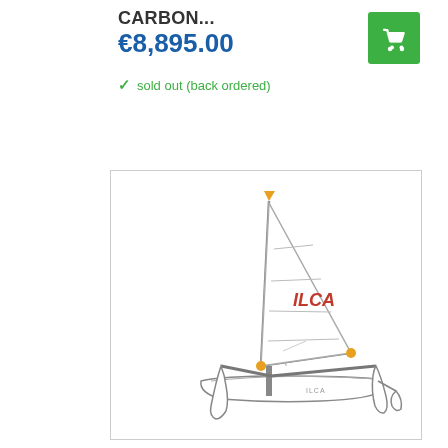CARBON...
€8,895.00
sold out (back ordered)
[Figure (illustration): ILCA sailing dinghy illustration showing sail with ILCA logo, mast, boom, hull and foil/hydrofoil components, viewed from the side]